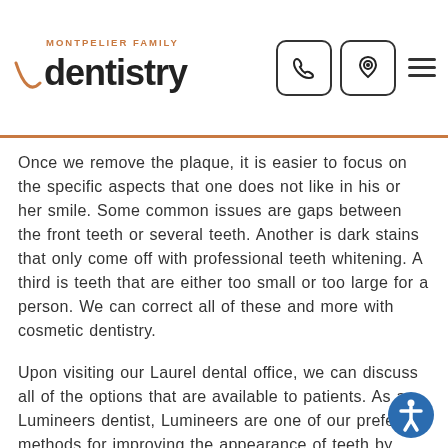[Figure (logo): Montpelier Family Dentistry logo with smile arc in orange and navigation icons (phone, location pin, hamburger menu)]
Once we remove the plaque, it is easier to focus on the specific aspects that one does not like in his or her smile.  Some common issues are gaps between the front teeth or several teeth.  Another is dark stains that only come off with professional teeth whitening.  A third is teeth that are either too small or too large for a person.  We can correct all of these and more with cosmetic dentistry.
Upon visiting our Laurel dental office, we can discuss all of the options that are available to patients.  As a Lumineers dentist, Lumineers are one of our preferred methods for improving the appearance of teeth by giving...